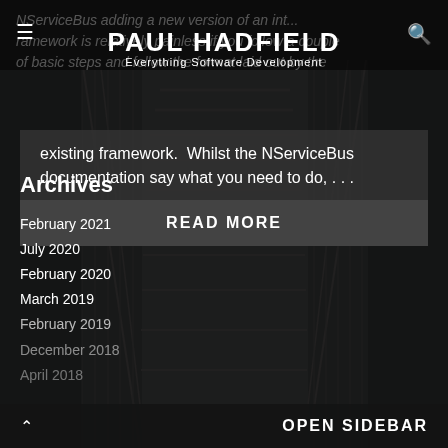PAUL HADFIELD
Everything Software Development
NServiceBus adding a new version of an int... ramework is relatively painless if you follow a couple of basic steps and follow the format laid out by the existing framework. Whilst the NServiceBus documentation say what you need to do, . . .
READ MORE
Archives
February 2021
July 2020
February 2020
March 2019
February 2019
December 2018
April 2018
OPEN SIDEBAR